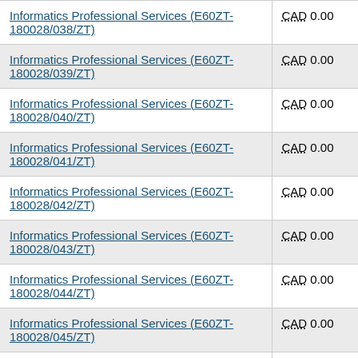| Contract | Value |
| --- | --- |
| Informatics Professional Services (E60ZT-180028/038/ZT) | CAD 0.00 |
| Informatics Professional Services (E60ZT-180028/039/ZT) | CAD 0.00 |
| Informatics Professional Services (E60ZT-180028/040/ZT) | CAD 0.00 |
| Informatics Professional Services (E60ZT-180028/041/ZT) | CAD 0.00 |
| Informatics Professional Services (E60ZT-180028/042/ZT) | CAD 0.00 |
| Informatics Professional Services (E60ZT-180028/043/ZT) | CAD 0.00 |
| Informatics Professional Services (E60ZT-180028/044/ZT) | CAD 0.00 |
| Informatics Professional Services (E60ZT-180028/045/ZT) | CAD 0.00 |
| Informatics Professional Services (E60ZT-180028/047/ZT) | CAD 0.00 |
| Informatics Professional Services (E60ZT-...) | CAD 0.00 |